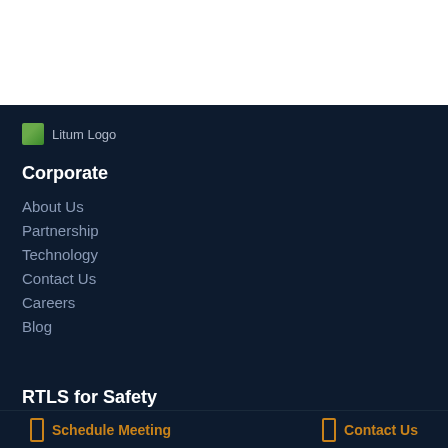[Figure (logo): Litum logo with small green image icon and text 'Litum Logo']
Corporate
About Us
Partnership
Technology
Contact Us
Careers
Blog
RTLS for Safety
Schedule Meeting
Contact Us